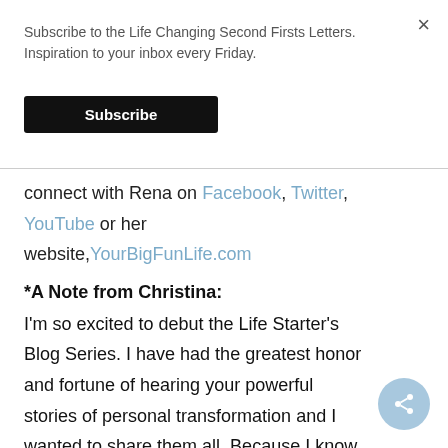Subscribe to the Life Changing Second Firsts Letters. Inspiration to your inbox every Friday.
Subscribe
connect with Rena on Facebook, Twitter, YouTube or her website,YourBigFunLife.com
*A Note from Christina:
I'm so excited to debut the Life Starter's Blog Series. I have had the greatest honor and fortune of hearing your powerful stories of personal transformation and I wanted to share them all. Because I know